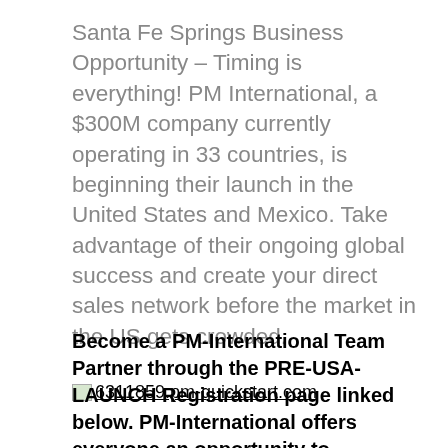Santa Fe Springs Business Opportunity – Timing is everything! PM International, a $300M company currently operating in 33 countries, is beginning their launch in the United States and Mexico. Take advantage of their ongoing global success and create your direct sales network before the market in the US gets crowded.
6311859.pm-quickstart.com
Become a PM-International Team Partner through the PRE-USA-LAUNCH Registration page linked below. PM-International offers everyone an opportunity to generate an additional income as an independent